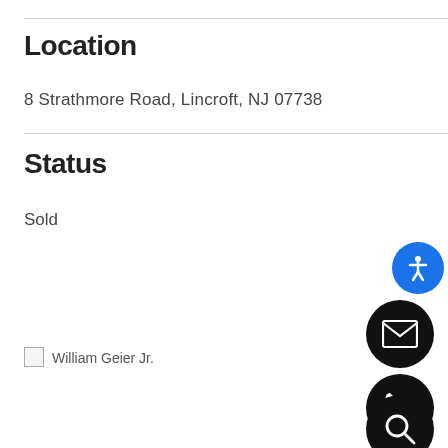Location
8 Strathmore Road, Lincroft, NJ 07738
Status
Sold
[Figure (screenshot): Broken image placeholder with alt text 'William Geier Jr.' representing a real estate agent photo]
[Figure (infographic): Blue accessibility icon button (person with arms outstretched) in top right corner]
[Figure (infographic): Black circle button with white envelope/email icon]
[Figure (infographic): Black circle button with white telephone/phone icon]
[Figure (infographic): Black circle button with white magnifying glass/search icon]